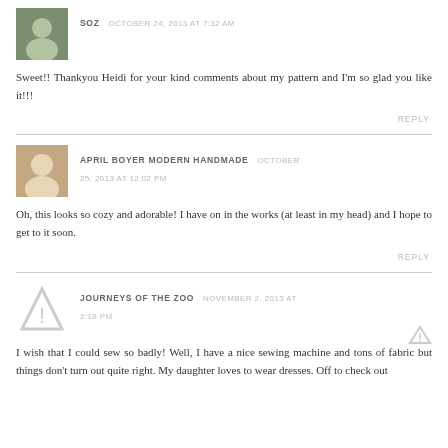SOZ OCTOBER 24, 2013 AT 7:32 AM
Sweet!! Thankyou Heidi for your kind comments about my pattern and I'm so glad you like it!!!
REPLY
APRIL BOYER MODERN HANDMADE OCTOBER 25, 2013 AT 12:02 PM
Oh, this looks so cozy and adorable! I have on in the works (at least in my head) and I hope to get to it soon.
REPLY
JOURNEYS OF THE ZOO NOVEMBER 2, 2013 AT 2:18 PM
I wish that I could sew so badly! Well, I have a nice sewing machine and tons of fabric but things don't turn out quite right. My daughter loves to wear dresses. Off to check out